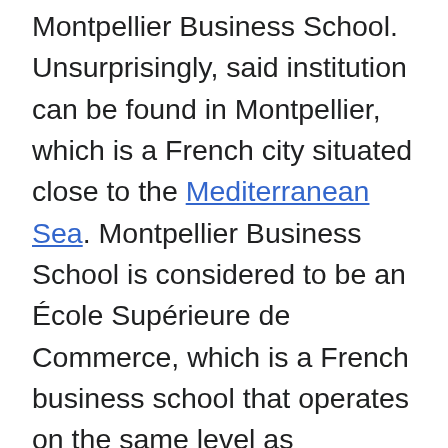Montpellier Business School. Unsurprisingly, said institution can be found in Montpellier, which is a French city situated close to the Mediterranean Sea. Montpellier Business School is considered to be an École Supérieure de Commerce, which is a French business school that operates on the same level as universities. Such institutions tend to be quite prestigious. Montpellier Business School is no exception to this rule. In fact, it was founded in 1897, which is enough to make it one of the